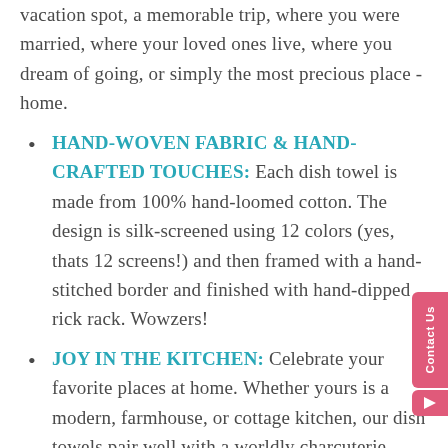vacation spot, a memorable trip, where you were married, where your loved ones live, where you dream of going, or simply the most precious place - home.
HAND-WOVEN FABRIC & HAND-CRAFTED TOUCHES: Each dish towel is made from 100% hand-loomed cotton. The design is silk-screened using 12 colors (yes, thats 12 screens!) and then framed with a hand-stitched border and finished with hand-dipped rick rack. Wowzers!
JOY IN THE KITCHEN: Celebrate your favorite places at home. Whether yours is a modern, farmhouse, or cottage kitchen, our dish towels pair well with a worldly charcuterie board or the fresh baked goodness of your favorite crusty bread